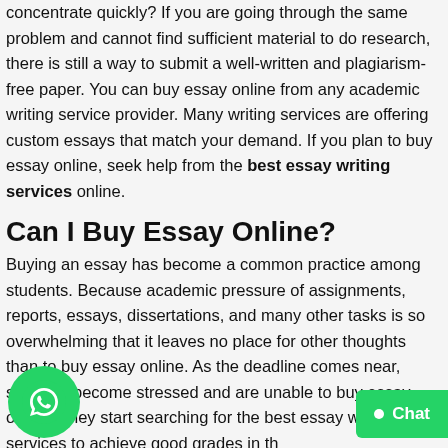concentrate quickly? If you are going through the same problem and cannot find sufficient material to do research, there is still a way to submit a well-written and plagiarism-free paper. You can buy essay online from any academic writing service provider. Many writing services are offering custom essays that match your demand. If you plan to buy essay online, seek help from the best essay writing services online.
Can I Buy Essay Online?
Buying an essay has become a common practice among students. Because academic pressure of assignments, reports, essays, dissertations, and many other tasks is so overwhelming that it leaves no place for other thoughts than to buy essay online. As the deadline comes near, students become stressed and are unable to buy essay online. They start searching for the best essay writing services to achieve good grades in th